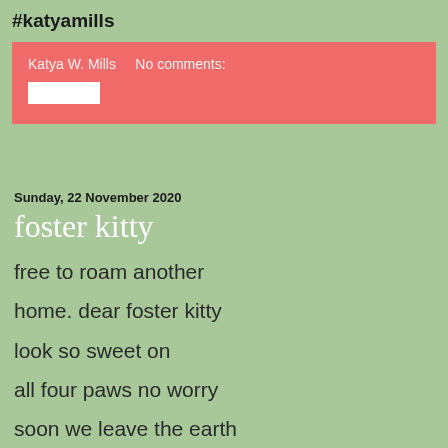#katyamills
Katya W. Mills    No comments:
Sunday, 22 November 2020
foster kitty
free to roam another
home. dear foster kitty
look so sweet on
all four paws no worry
soon we leave the earth
for mars